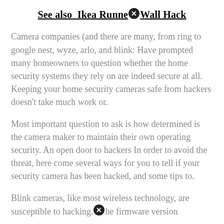See also  Ikea Runner Wall Hack
Camera companies (and there are many, from ring to google nest, wyze, arlo, and blink: Have prompted many homeowners to question whether the home security systems they rely on are indeed secure at all. Keeping your home security cameras safe from hackers doesn't take much work or.
Most important question to ask is how determined is the camera maker to maintain their own operating security. An open door to hackers In order to avoid the threat, here come several ways for you to tell if your security camera has been hacked, and some tips to.
Blink cameras, like most wireless technology, are susceptible to hacking. the firmware version